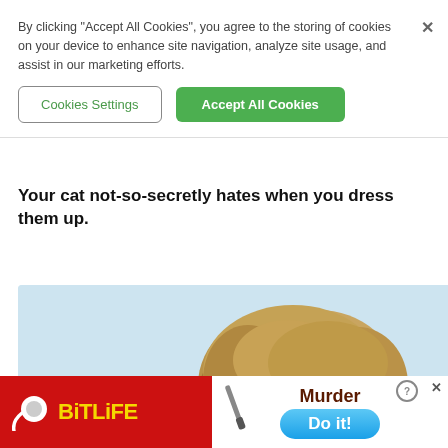By clicking “Accept All Cookies”, you agree to the storing of cookies on your device to enhance site navigation, analyze site usage, and assist in our marketing efforts.
Cookies Settings
Accept All Cookies
Your cat not-so-secretly hates when you dress them up.
[Figure (photo): A fluffy cat wearing a lion mane costume, peeking over the edge with paws visible, photographed against a light blue background.]
[Figure (screenshot): Advertisement banner for BitLife game app (red background on left with BitLife logo in yellow), and a game scene showing 'Murder' text with a 'Do it!' blue button.]